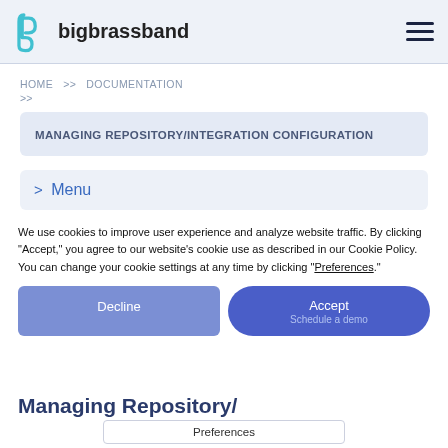bigbrassband
HOME >> DOCUMENTATION >> MANAGING REPOSITORY/INTEGRATION CONFIGURATION
MANAGING REPOSITORY/INTEGRATION CONFIGURATION
> Menu
We use cookies to improve user experience and analyze website traffic. By clicking “Accept,” you agree to our website's cookie use as described in our Cookie Policy. You can change your cookie settings at any time by clicking “Preferences.”
Decline
Accept
Schedule a demo
Documentation
Managing Repository/
Preferences